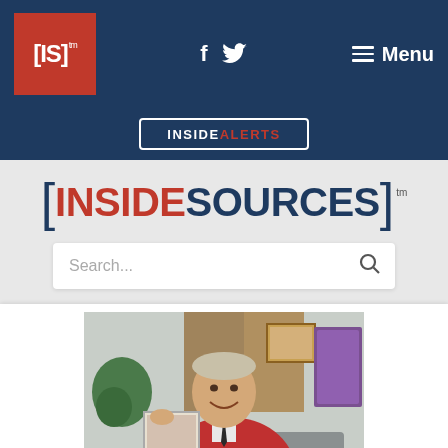[Figure (screenshot): Website navigation bar with [IS] logo in red square, Facebook and Twitter icons, and Menu button on dark navy background]
[Figure (screenshot): INSIDEALERTS button with white border on dark navy background]
[Figure (logo): [INSIDESOURCES] logo with INSIDE in red and SOURCES in navy blue, with bracket characters on sides and tm superscript]
[Figure (screenshot): Search bar with placeholder text 'Search...' and magnifying glass icon]
[Figure (photo): Photo of a man in a red cardigan sweater sitting and smiling, likely portraying Mr. Rogers, holding a framed picture. Indoor setting with plants and furniture visible.]